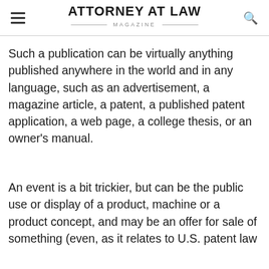ATTORNEY AT LAW MAGAZINE
Such a publication can be virtually anything published anywhere in the world and in any language, such as an advertisement, a magazine article, a patent, a published patent application, a web page, a college thesis, or an owner's manual.
An event is a bit trickier, but can be the public use or display of a product, machine or a product concept, and may be an offer for sale of something (even, as it relates to U.S. patent law